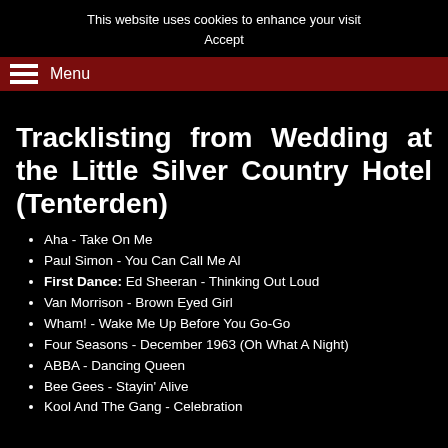This website uses cookies to enhance your visit
Accept
Menu
Tracklisting from Wedding at the Little Silver Country Hotel (Tenterden)
Aha - Take On Me
Paul Simon - You Can Call Me Al
First Dance: Ed Sheeran - Thinking Out Loud
Van Morrison - Brown Eyed Girl
Wham! - Wake Me Up Before You Go-Go
Four Seasons - December 1963 (Oh What A Night)
ABBA - Dancing Queen
Bee Gees - Stayin' Alive
Kool And The Gang - Celebration